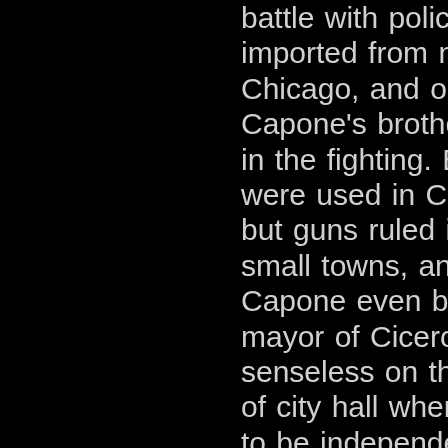battle with police imported from nearby Chicago, and one of Capone's brothers died in the fighting. Bribes were used in Chicago, but guns ruled in the small towns, and Capone even beat the mayor of Cicero senseless on the steps of city hall when he tried to be independent. However, Capone knew that it was cheaper to pay bribes than lose business to raids, as long as the local police did not get too greedy.